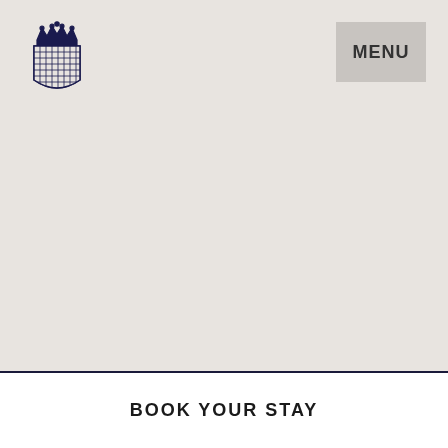[Figure (logo): The Royal Highland Hotel crest/logo — a crown above a shield with grid pattern, in dark navy blue]
MENU
THE ROYAL HIGHLAND HOTEL
INVERNESS · LOCH NESS
SCOTLAND
1856
BOOK YOUR STAY